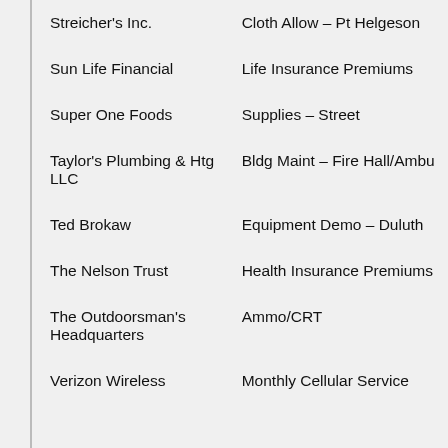| Vendor | Description |
| --- | --- |
| Streicher's Inc. | Cloth Allow – Pt Helgeson |
| Sun Life Financial | Life Insurance Premiums |
| Super One Foods | Supplies – Street |
| Taylor's Plumbing & Htg LLC | Bldg Maint – Fire Hall/Ambu |
| Ted Brokaw | Equipment Demo – Duluth |
| The Nelson Trust | Health Insurance Premiums |
| The Outdoorsman's Headquarters | Ammo/CRT |
| Verizon Wireless | Monthly Cellular Service |